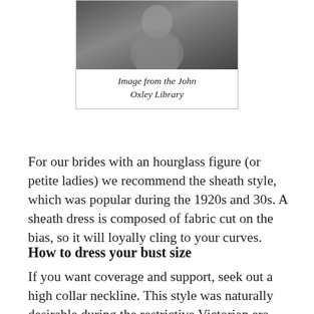[Figure (photo): Black and white photograph of a person in early 20th century clothing, cropped at top]
Image from the John Oxley Library
For our brides with an hourglass figure (or petite ladies) we recommend the sheath style, which was popular during the 1920s and 30s. A sheath dress is composed of fabric cut on the bias, so it will loyally cling to your curves.
How to dress your bust size
If you want coverage and support, seek out a high collar neckline. This style was naturally desirable during the restrictive Victorian era, but it had a resurgence during the 1950s. The later look was typically paired with a fitted, bolero jacket. A rounded neckline will complement your curves, and is found in